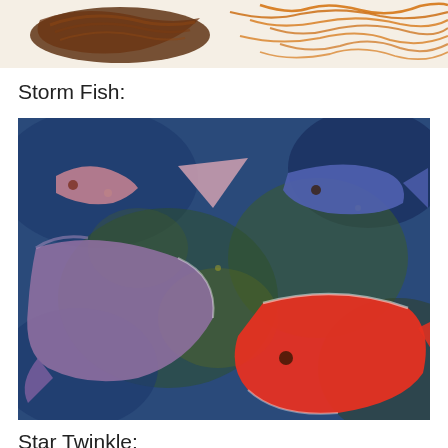[Figure (photo): Top portion of a child's drawing showing orange crayon scribbles and brown hair/circular shapes on a white/cream background]
Storm Fish:
[Figure (photo): Child's painting titled Storm Fish showing multiple fish in a swirling underwater scene. A large purple/mauve fish on the left, a bright red/orange fish on the lower right, smaller pink and blue fish in the upper area, all set against a stormy blue-green painted background.]
Star Twinkle: